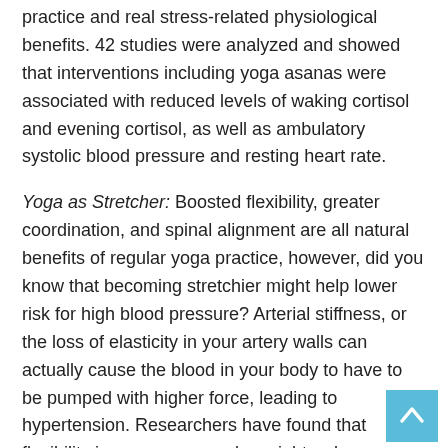practice and real stress-related physiological benefits. 42 studies were analyzed and showed that interventions including yoga asanas were associated with reduced levels of waking cortisol and evening cortisol, as well as ambulatory systolic blood pressure and resting heart rate.
Yoga as Stretcher: Boosted flexibility, greater coordination, and spinal alignment are all natural benefits of regular yoga practice, however, did you know that becoming stretchier might help lower risk for high blood pressure? Arterial stiffness, or the loss of elasticity in your artery walls can actually cause the blood in your body to have to be pumped with higher force, leading to hypertension. Researchers have found that flexibility in your own muscles might reduce arterial stiffness and thus fight high blood pressure. For example, a 2016 study showed how hot yoga (Bikram) ameliorated arterial stiffness in overweight and obese individuals no matter their BMI.